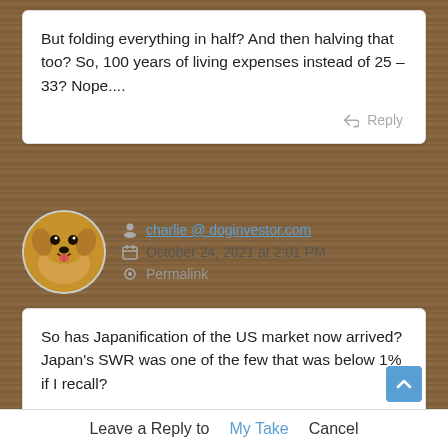But folding everything in half? And then halving that too? So, 100 years of living expenses instead of 25 – 33? Nope....
charlie @ doginvestor.com
October 24, 2021 at 2:01 PM
Permalink
So has Japanification of the US market now arrived?
Japan's SWR was one of the few that was below 1% if I recall?